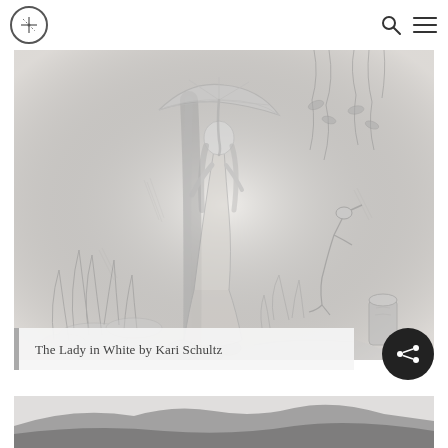[Figure (illustration): Pencil sketch illustration of a woman in a white dress holding an umbrella, standing in a lush outdoor scene with plants, hanging moss or vines, a heron, and a stream with rocks and a wooden stump. Rendered in graphite/pencil style with loose, expressive lines.]
The Lady in White by Kari Schultz
[Figure (illustration): Partial view of a dark landscape illustration at the bottom of the page, showing what appears to be a dark hill or mountain form.]